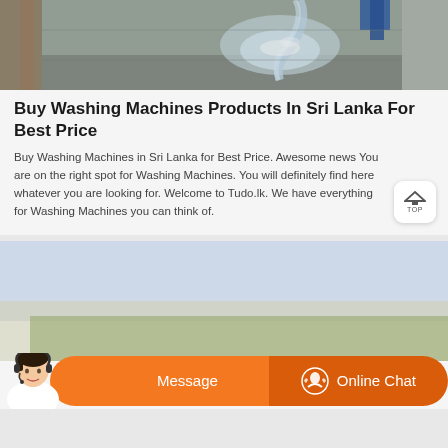[Figure (photo): Photo of water flowing into a concrete basin or washing area, industrial/outdoor setting with wooden frame visible, person's legs/feet in background]
Buy Washing Machines Products In Sri Lanka For Best Price
Buy Washing Machines in Sri Lanka for Best Price. Awesome news You are on the right spot for Washing Machines. You will definitely find here whatever you are looking for. Welcome to Tudo.lk. We have everything for Washing Machines you can think of.
[Figure (photo): Partially visible photo with light blue/overcast sky, bottom portion of a second product card image]
[Figure (screenshot): Orange chat bar at bottom with Message button on left and Online Chat button with headset icon on right, and customer service avatar on left side]